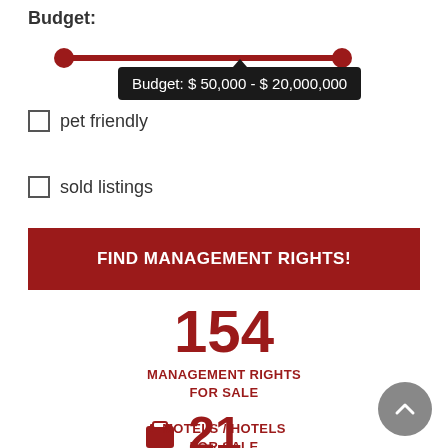Budget:
[Figure (other): Budget range slider showing Budget: $50,000 - $20,000,000 with tooltip]
pet friendly
sold listings
FIND MANAGEMENT RIGHTS!
154
MANAGEMENT RIGHTS FOR SALE
[Figure (other): Briefcase/luggage icon]
21
MOTELS / HOTELS FOR SALE